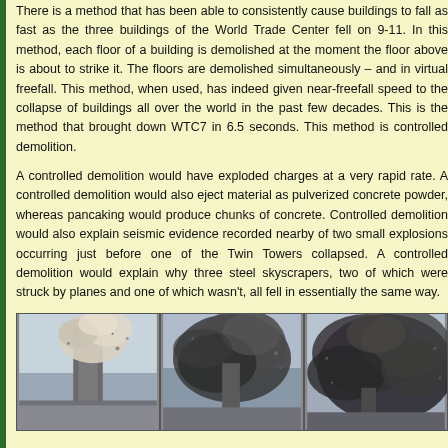There is a method that has been able to consistently cause buildings to fall as fast as the three buildings of the World Trade Center fell on 9-11. In this method, each floor of a building is demolished at the moment the floor above is about to strike it. The floors are demolished simultaneously – and in virtual freefall. This method, when used, has indeed given near-freefall speed to the collapse of buildings all over the world in the past few decades. This is the method that brought down WTC7 in 6.5 seconds. This method is controlled demolition.
A controlled demolition would have exploded charges at a very rapid rate. A controlled demolition would also eject material as pulverized concrete powder, whereas pancaking would produce chunks of concrete. Controlled demolition would also explain seismic evidence recorded nearby of two small explosions occurring just before one of the Twin Towers collapsed. A controlled demolition would explain why three steel skyscrapers, two of which were struck by planes and one of which wasn't, all fell in essentially the same way.
[Figure (photo): Three sequential photographs showing a building (likely a World Trade Center tower) collapsing with large plumes of smoke and debris.]